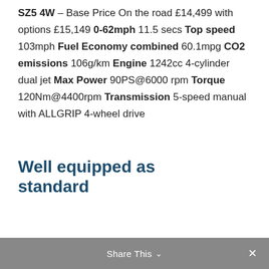SZ5 4W – Base Price On the road £14,499 with options £15,149 0-62mph 11.5 secs Top speed 103mph Fuel Economy combined 60.1mpg CO2 emissions 106g/km Engine 1242cc 4-cylinder dual jet Max Power 90PS@6000 rpm Torque 120Nm@4400rpm Transmission 5-speed manual with ALLGRIP 4-wheel drive
Well equipped as standard
Share This ∨  ✕